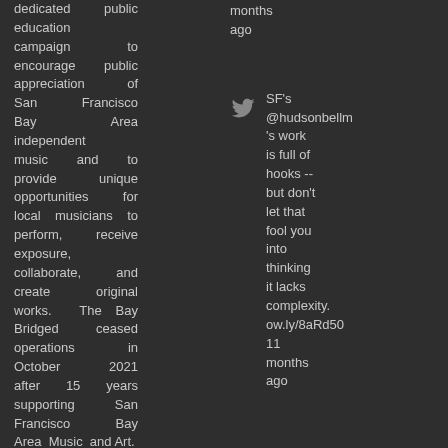dedicated public education campaign to encourage public appreciation of San Francisco Bay Area independent music and to provide unique opportunities for local musicians to perform, receive exposure, collaborate, and create original works. The Bay Bridged ceased operations in October 2021 after 15 years supporting San Francisco Bay Area Music and Art.
months ago
SF's @hudsonbellm 's work is full of hooks -- but don't let that fool you into thinking it lacks complexity. ow.ly/8aRd50 11 months ago